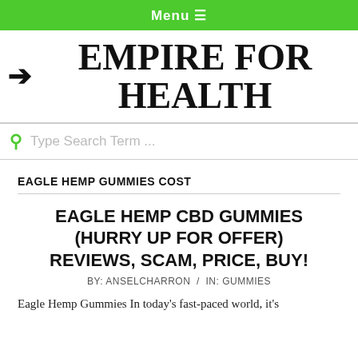Menu ≡
EMPIRE FOR HEALTH
Type Search Term ...
EAGLE HEMP GUMMIES COST
EAGLE HEMP CBD GUMMIES (HURRY UP FOR OFFER) REVIEWS, SCAM, PRICE, BUY!
BY: ANSELCHARRON / IN: GUMMIES
Eagle Hemp Gummies In today's fast-paced world, it's